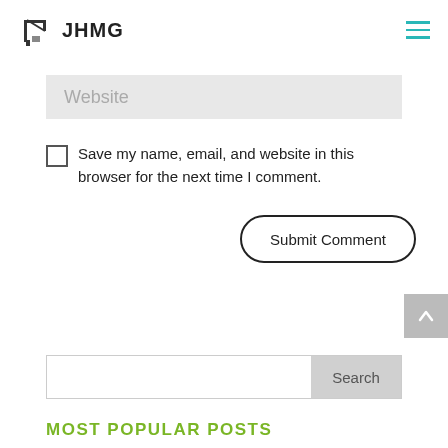JHMG
Website
Save my name, email, and website in this browser for the next time I comment.
Submit Comment
Search
MOST POPULAR POSTS